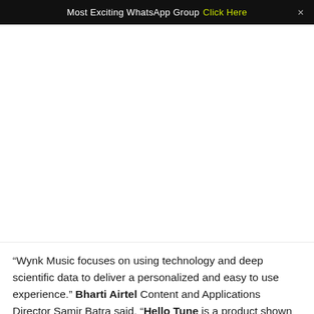Most Exciting WhatsApp Group  Click Here  ×
[Figure (other): Advertisement area / blank white space placeholder]
“Wynk Music focuses on using technology and deep scientific data to deliver a personalized and easy to use experience.” Bharti Airtel Content and Applications Director Samir Batra said, “Hello Tune is a product shown by Airtel Mobile customers.